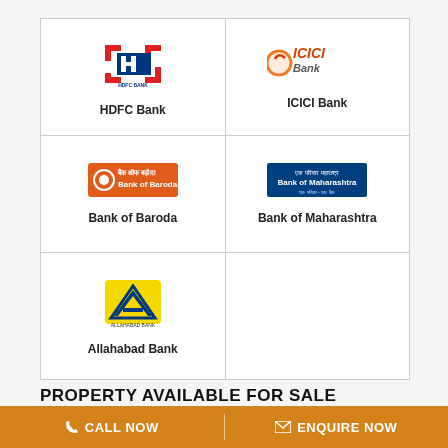[Figure (logo): HDFC Bank logo]
HDFC Bank
[Figure (logo): ICICI Bank logo]
ICICI Bank
[Figure (logo): Bank of Baroda logo]
Bank of Baroda
[Figure (logo): Bank of Maharashtra logo]
Bank of Maharashtra
[Figure (logo): Allahabad Bank logo]
Allahabad Bank
PROPERTY AVAILABLE FOR SALE
CALL NOW | ENQUIRE NOW